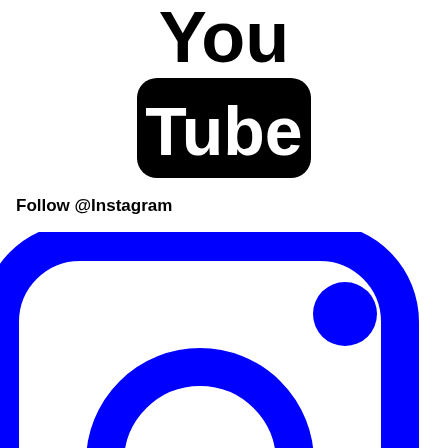[Figure (logo): YouTube logo in black and white: 'You' text above a black rounded rectangle containing white bold 'Tube' text]
Follow @Instagram
[Figure (logo): Instagram camera icon logo rendered in blue: rounded square outline with inner circle ring and small dot in upper right]